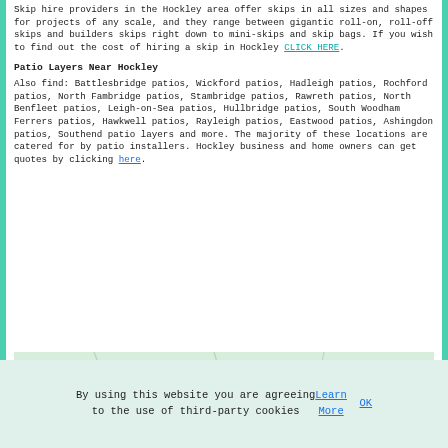Skip hire providers in the Hockley area offer skips in all sizes and shapes for projects of any scale, and they range between gigantic roll-on, roll-off skips and builders skips right down to mini-skips and skip bags. If you wish to find out the cost of hiring a skip in Hockley CLICK HERE.
Patio Layers Near Hockley
Also find: Battlesbridge patios, Wickford patios, Hadleigh patios, Rochford patios, North Fambridge patios, Stambridge patios, Rawreth patios, North Benfleet patios, Leigh-on-Sea patios, Hullbridge patios, South Woodham Ferrers patios, Hawkwell patios, Rayleigh patios, Eastwood patios, Ashingdon patios, Southend patio layers and more. The majority of these locations are catered for by patio installers. Hockley business and home owners can get quotes by clicking here.
[Figure (map): Google Maps view showing Riverside Nursery & Garden Centre near Hockley area, with green/light terrain and road network visible.]
By using this website you are agreeing to the use of third-party cookies Learn More OK